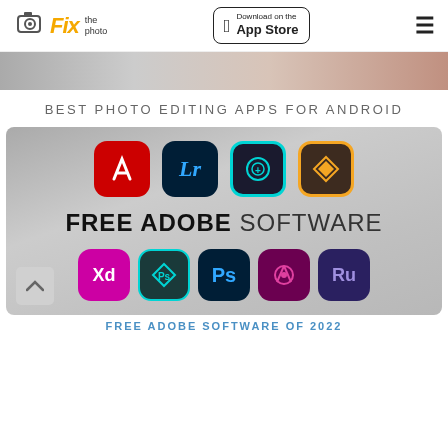Fix the photo — Download on the App Store
[Figure (photo): Partial photo showing hands or skin tones at top of page]
BEST PHOTO EDITING APPS FOR ANDROID
[Figure (infographic): FREE ADOBE SOFTWARE banner showing app icons: Adobe Acrobat (red), Lightroom (dark blue with Lr), Camera+ (teal circle), Muse (orange diamond), XD (pink/purple), Photoshop Express (teal outline), Photoshop (blue Ps), Spark Post (purple), Rush (blue/purple Ru)]
FREE ADOBE SOFTWARE OF 2022